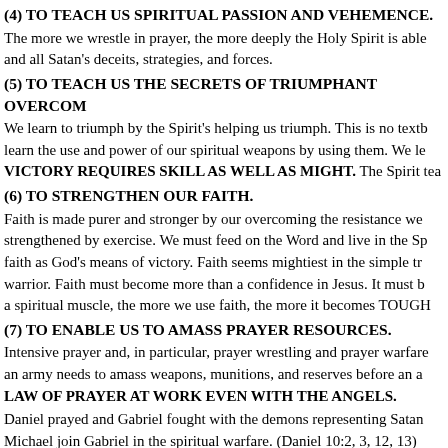(4) TO TEACH US SPIRITUAL PASSION AND VEHEMENCE.
The more we wrestle in prayer, the more deeply the Holy Spirit is able and all Satan's deceits, strategies, and forces.
(5) TO TEACH US THE SECRETS OF TRIUMPHANT OVERCOM
We learn to triumph by the Spirit's helping us triumph. This is no textb learn the use and power of our spiritual weapons by using them. We le VICTORY REQUIRES SKILL AS WELL AS MIGHT. The Spirit tea
(6) TO STRENGTHEN OUR FAITH.
Faith is made purer and stronger by our overcoming the resistance we strengthened by exercise. We must feed on the Word and live in the Sp faith as God's means of victory. Faith seems mightiest in the simple tr warrior. Faith must become more than a confidence in Jesus. It must b a spiritual muscle, the more we use faith, the more it becomes TOUGH
(7) TO ENABLE US TO AMASS PRAYER RESOURCES.
Intensive prayer and, in particular, prayer wrestling and prayer warfare an army needs to amass weapons, munitions, and reserves before an a LAW OF PRAYER AT WORK EVEN WITH THE ANGELS.
Daniel prayed and Gabriel fought with the demons representing Satan Michael join Gabriel in the spiritual warfare. (Daniel 10:2, 3, 12, 13)